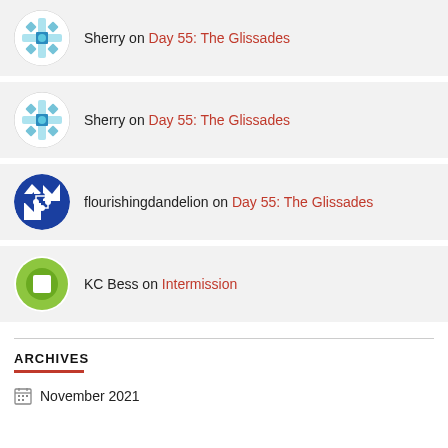Sherry on Day 55: The Glissades
Sherry on Day 55: The Glissades
flourishingdandelion on Day 55: The Glissades
KC Bess on Intermission
ARCHIVES
November 2021